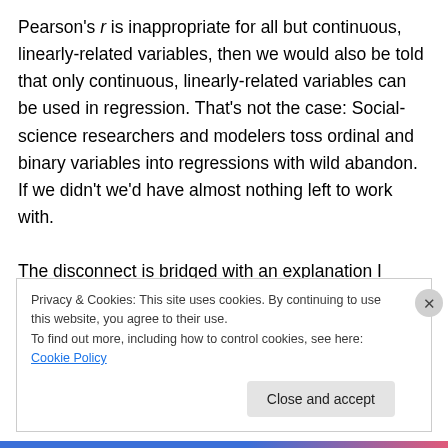Pearson's r is inappropriate for all but continuous, linearly-related variables, then we would also be told that only continuous, linearly-related variables can be used in regression. That's not the case: Social-science researchers and modelers toss ordinal and binary variables into regressions with wild abandon. If we didn't we'd have almost nothing left to work with.

The disconnect is bridged with an explanation I found in one university stats textbook. It's touched on only briefly, and towards the end of the book. The gist is this: For 0/1
Privacy & Cookies: This site uses cookies. By continuing to use this website, you agree to their use.
To find out more, including how to control cookies, see here: Cookie Policy